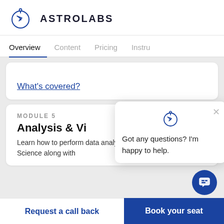[Figure (logo): Astrolabs logo: circular icon with lightning bolt and compass needle, with ASTROLABS text]
Overview   Content   Pricing   Instru
What's covered?
MODULE 5
Analysis & Vi
Learn how to perform data analysis and visualization in Data Science along with
Got any questions? I'm happy to help.
Request a call back
Book your seat